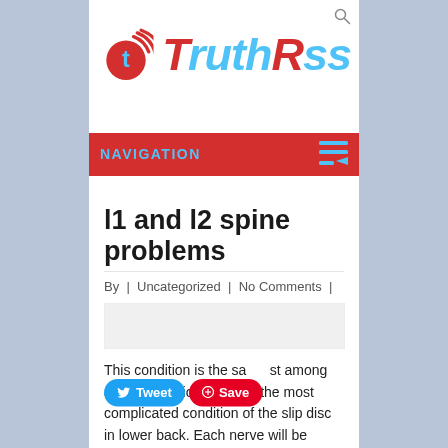[Figure (logo): TruthRss logo with red circle T icon and cyan TruthRss text]
NAVIGATION
l1 and l2 spine problems
By | Uncategorized | No Comments |
[Figure (photo): Gray placeholder image block]
This condition is the saddest among all the conditions. This is the most complicated condition of the slip disc in lower back. Each nerve will be discussed as to what symptoms of lumbar nerve